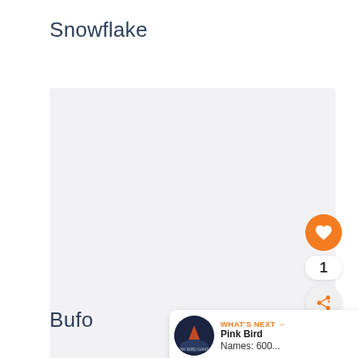Snowflake
[Figure (photo): Large light gray placeholder image area filling most of the page]
Bufo
[Figure (other): Orange heart/like button (circular, orange background with white heart icon), like count '1', and share button (circular, light background with share icon)]
[Figure (other): What's Next panel with circular thumbnail showing dark blue/purple night sky scene, orange text 'WHAT'S NEXT →', bold text 'Pink Bird Names: 600...']